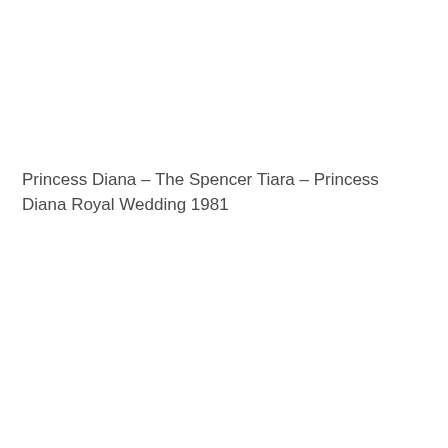Princess Diana – The Spencer Tiara – Princess Diana Royal Wedding 1981